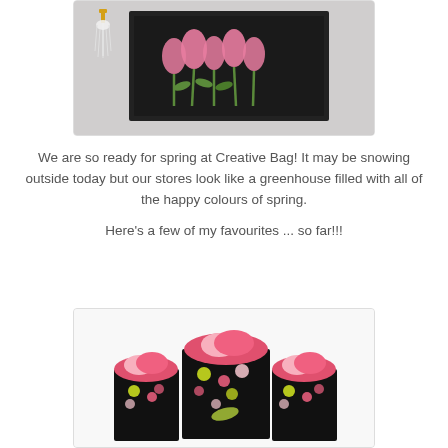[Figure (photo): Photo of a decorative chalkboard with pink floral art and a gold and white tassel hanging on a grey wall]
We are so ready for spring at Creative Bag! It may be snowing outside today but our stores look like a greenhouse filled with all of the happy colours of spring.
Here's a few of my favourites ... so far!!!
[Figure (photo): Photo of black floral-patterned gift bags filled with pink tissue paper in various sizes]